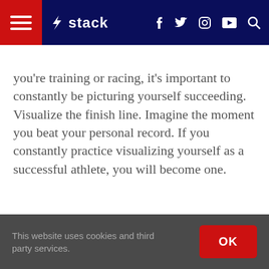stack
you're training or racing, it's important to constantly be picturing yourself succeeding. Visualize the finish line. Imagine the moment you beat your personal record. If you constantly practice visualizing yourself as a successful athlete, you will become one.
This website uses cookies and third party services.